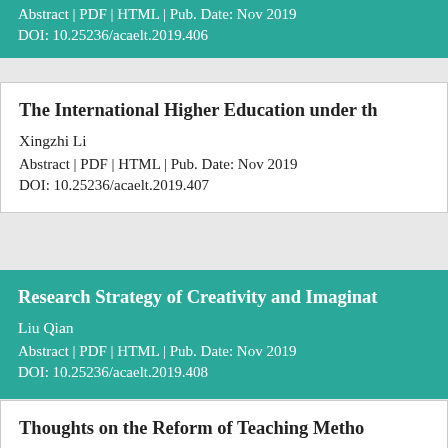Abstract | PDF | HTML | Pub. Date: Nov 2019
DOI: 10.25236/acaelt.2019.406
The International Higher Education under th...
Xingzhi Li
Abstract | PDF | HTML | Pub. Date: Nov 2019
DOI: 10.25236/acaelt.2019.407
Research Strategy of Creativity and Imaginat...
Liu Qian
Abstract | PDF | HTML | Pub. Date: Nov 2019
DOI: 10.25236/acaelt.2019.408
Thoughts on the Reform of Teaching Metho...
Sun Yanxia